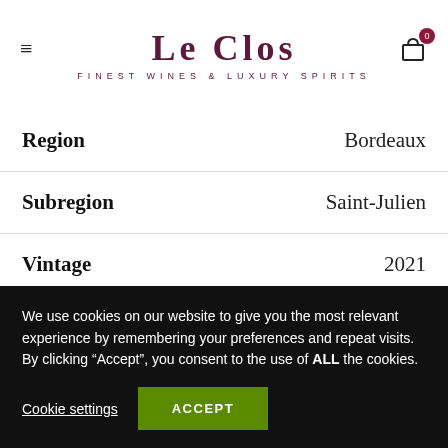Le Clos — Finest Wines & Luxury Spirits
| Attribute | Value |
| --- | --- |
| Region | Bordeaux |
| Subregion | Saint-Julien |
| Vintage | 2021 |
| Producer | Chateau Leoville Poyferre |
We use cookies on our website to give you the most relevant experience by remembering your preferences and repeat visits. By clicking "Accept", you consent to the use of ALL the cookies.
Cookie settings  ACCEPT